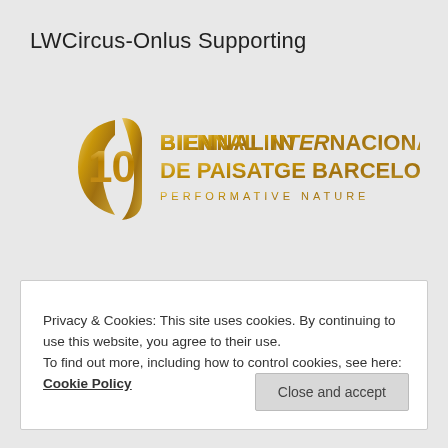LWCircus-Onlus Supporting
[Figure (logo): 10 Biennal Internacional de Paisatge Barcelona - Performative Nature logo with golden/bronze gradient design]
Privacy & Cookies: This site uses cookies. By continuing to use this website, you agree to their use.
To find out more, including how to control cookies, see here: Cookie Policy
Close and accept